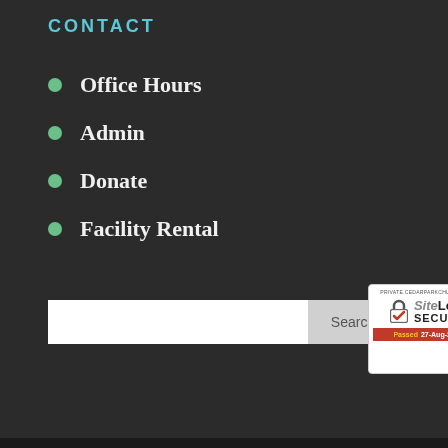CONTACT
Office Hours
Admin
Donate
Facility Rental
[Figure (screenshot): Search input box with Search button and SiteLock SECURE badge showing Passed 27-Aug-2022]